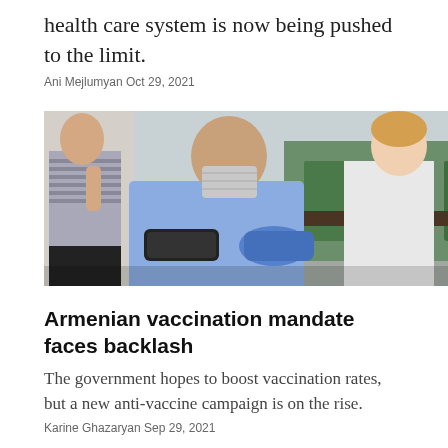health care system is now being pushed to the limit.
Ani Mejlumyan Oct 29, 2021
[Figure (photo): An elderly man wearing a face mask has his blood pressure taken by a healthcare worker in a blue glove, with green chairs visible in the background and another person standing to the left.]
Armenian vaccination mandate faces backlash
The government hopes to boost vaccination rates, but a new anti-vaccine campaign is on the rise.
Karine Ghazaryan Sep 29, 2021